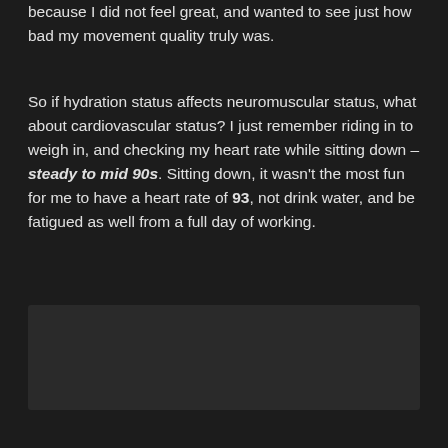because I did not feel great, and wanted to see just how bad my movement quality truly was.
So if hydration status affects neuromuscular status, what about cardiovascular status? I just remember riding in to weigh in, and checking my heart rate while sitting down – steady to mid 90s. Sitting down, it wasn't the most fun for me to have a heart rate of 93, not drink water, and be fatigued as well from a full day of working.
[Figure (other): Video placeholder showing 'This video is private' message with an exclamation icon on dark background]